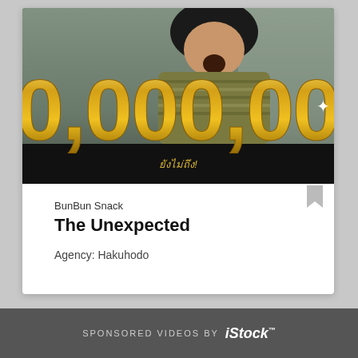[Figure (photo): A woman with an open-mouthed surprised expression, standing in front of a dark background with large golden glittery text reading '0,000,000' and Thai text 'ยังไม่ถึง!' below]
BunBun Snack
The Unexpected
Agency: Hakuhodo
SPONSORED VIDEOS by iStock